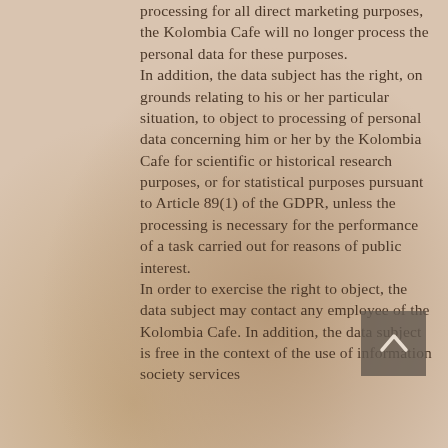processing for all direct marketing purposes, the Kolombia Cafe will no longer process the personal data for these purposes. In addition, the data subject has the right, on grounds relating to his or her particular situation, to object to processing of personal data concerning him or her by the Kolombia Cafe for scientific or historical research purposes, or for statistical purposes pursuant to Article 89(1) of the GDPR, unless the processing is necessary for the performance of a task carried out for reasons of public interest. In order to exercise the right to object, the data subject may contact any employee of the Kolombia Cafe. In addition, the data subject is free in the context of the use of information society services